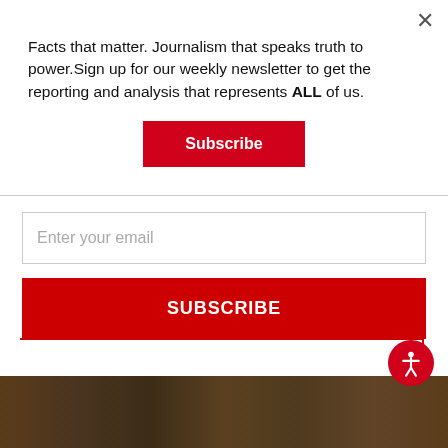Facts that matter. Journalism that speaks truth to power.Sign up for our weekly newsletter to get the reporting and analysis that represents ALL of us.
Subscribe
Enter your email
SUBSCRIBE
[Figure (photo): Dark wooden surface photograph at bottom of page]